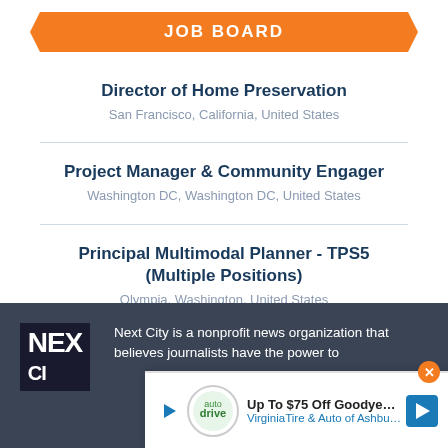JOB BOARD
Director of Home Preservation
San Francisco, California, United States
Project Manager & Community Engager
Washington DC, Washington DC, United States
Principal Multimodal Planner - TPS5 (Multiple Positions)
Olympia, Washington, United States
VIEW ALL JOBS
Next City is a nonprofit news organization that believes journalists have the power to
[Figure (screenshot): Advertisement overlay: Up To $75 Off Goodyear Tires - Virginia Tire & Auto of Ashburn Fa.]